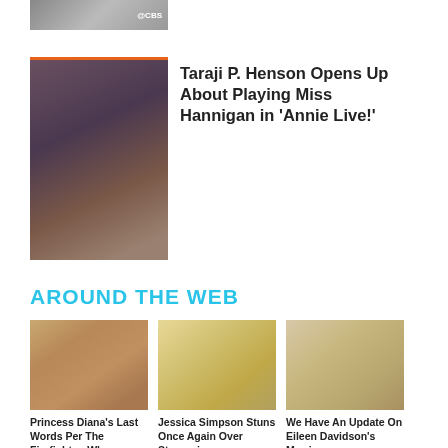[Figure (photo): Top partial image with CBS logo visible]
[Figure (photo): Taraji P. Henson dressed as Miss Hannigan in Annie Live!]
Taraji P. Henson Opens Up About Playing Miss Hannigan in 'Annie Live!'
AROUND THE WEB
[Figure (photo): Princess Diana close-up portrait photo]
Princess Diana's Last Words Per The Firefighter, Who Revived Her
[Figure (photo): Jessica Simpson smiling with long blonde hair]
Jessica Simpson Stuns Once Again Over Staggering Transformation
[Figure (photo): Eileen Davidson close-up portrait]
We Have An Update On Eileen Davidson's Marriage